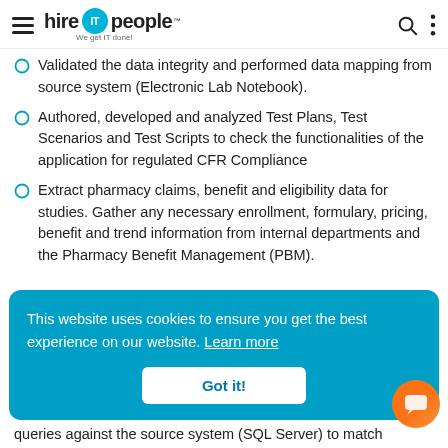hire IT people - We get IT done!
Validated the data integrity and performed data mapping from source system (Electronic Lab Notebook).
Authored, developed and analyzed Test Plans, Test Scenarios and Test Scripts to check the functionalities of the application for regulated CFR Compliance
Extract pharmacy claims, benefit and eligibility data for studies. Gather any necessary enrollment, formulary, pricing, benefit and trend information from internal departments and the Pharmacy Benefit Management (PBM).
This website uses cookies to ensure you get the best experience on our website. Learn more
Got it!
queries against the source system (SQL Server) to match